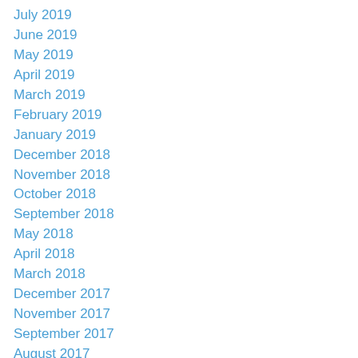July 2019
June 2019
May 2019
April 2019
March 2019
February 2019
January 2019
December 2018
November 2018
October 2018
September 2018
May 2018
April 2018
March 2018
December 2017
November 2017
September 2017
August 2017
July 2017
April 2017